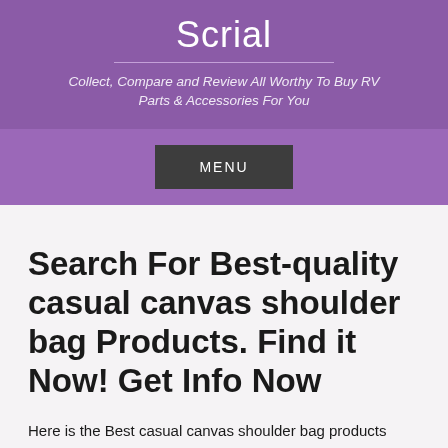Scrial
Collect, Compare and Review All Worthy To Buy RV Parts & Accessories For You
MENU
Search For Best-quality casual canvas shoulder bag Products. Find it Now! Get Info Now
Here is the Best casual canvas shoulder bag products Reviews and Buying Guide platform. You will get all the best product reviews and buying guides. After testing dozens of the best